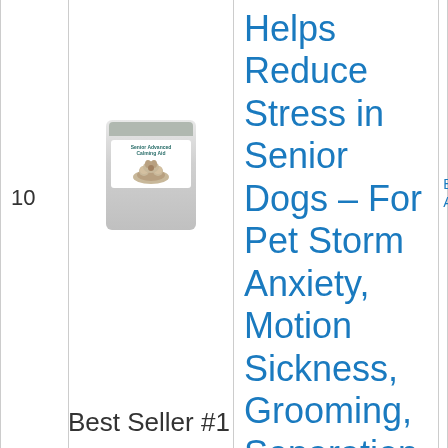| # | Image | Product | Action |
| --- | --- | --- | --- |
| 10 | [product image] | Helps Reduce Stress in Senior Dogs – For Pet Storm Anxiety, Motion Sickness, Grooming, Separation, Travel – 120-Ct. Soft Chews | Bu
Ar |
Best Seller #1